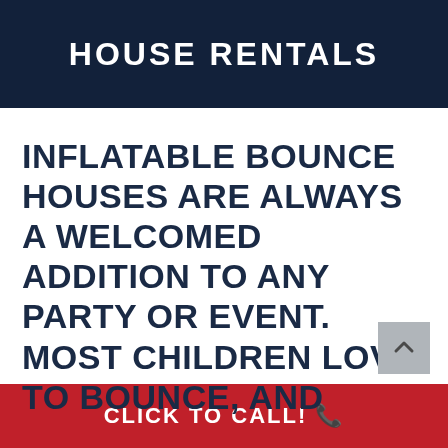HOUSE RENTALS
INFLATABLE BOUNCE HOUSES ARE ALWAYS A WELCOMED ADDITION TO ANY PARTY OR EVENT. MOST CHILDREN LOVE TO BOUNCE, AND
CLICK TO CALL! ☎